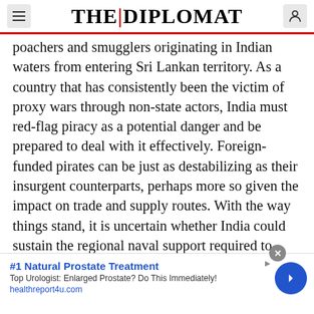THE DIPLOMAT
poachers and smugglers originating in Indian waters from entering Sri Lankan territory. As a country that has consistently been the victim of proxy wars through non-state actors, India must red-flag piracy as a potential danger and be prepared to deal with it effectively. Foreign-funded pirates can be just as destabilizing as their insurgent counterparts, perhaps more so given the impact on trade and supply routes. With the way things stand, it is uncertain whether India could sustain the regional naval support required to protect its interests, were piracy to become a significant threat in the Bay of Bengal or Arabian
[Figure (other): Advertisement banner: #1 Natural Prostate Treatment. Top Urologist: Enlarged Prostate? Do This Immediately! healthreport4u.com. With close button and arrow button.]